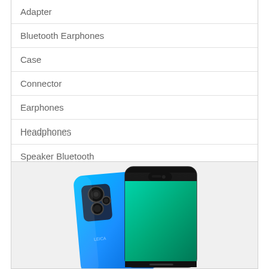Adapter
Bluetooth Earphones
Case
Connector
Earphones
Headphones
Speaker Bluetooth
[Figure (photo): Huawei smartphone shown from back and front, in blue color, with triple camera on back and notch display on front]